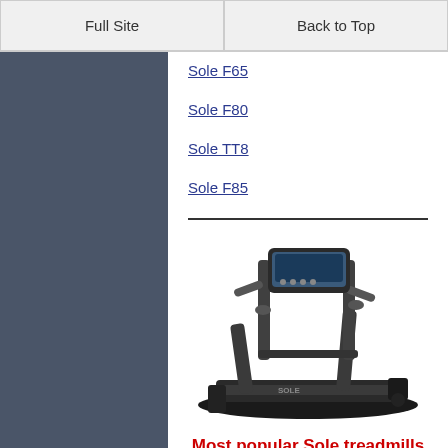Full Site | Back to Top
Sole F65
Sole F80
Sole TT8
Sole F85
[Figure (photo): A black Sole treadmill shown from the side, with electronic console, handlebars, and running deck visible]
Most popular Sole treadmills are